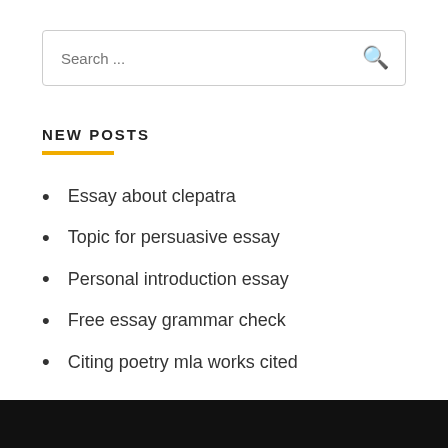[Figure (screenshot): Search box with placeholder text 'Search ...' and a gold magnifying glass icon on the right]
NEW POSTS
Essay about clepatra
Topic for persuasive essay
Personal introduction essay
Free essay grammar check
Citing poetry mla works cited